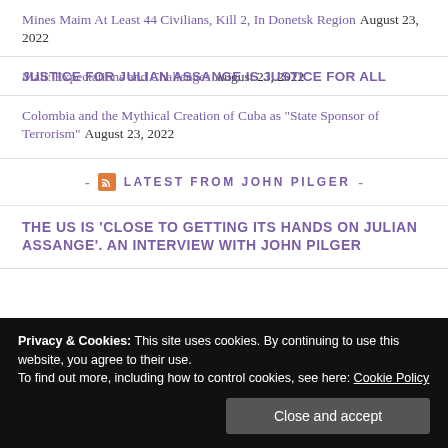Mines Maim At Least 44 Civilians, Kill 2, In Donetsk Region August 23, 2022
Mali: Expectations and Challenges August 23, 2022
Colombia and the Mythical Creation of Cuba as "State Sponsor of Terrorism" August 23, 2022
- LATEST FROM JOHN PILGER -
THE US IS 'CLOSE TO GETTING ITS HANDS ON JULIAN ASSANGE'. AN INTERVIEW WITH JOHN PILGER
Privacy & Cookies: This site uses cookies. By continuing to use this website, you agree to their use. To find out more, including how to control cookies, see here: Cookie Policy
JUSTICE FOR JULIAN ASSANGE IS JUSTICE FOR ALL